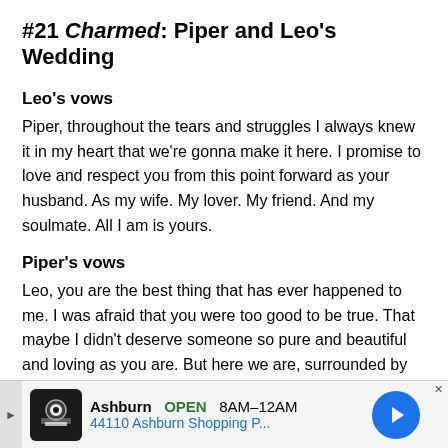#21 Charmed: Piper and Leo's Wedding
Leo's vows
Piper, throughout the tears and struggles I always knew it in my heart that we're gonna make it here. I promise to love and respect you from this point forward as your husband. As my wife. My lover. My friend. And my soulmate. All I am is yours.
Piper's vows
Leo, you are the best thing that has ever happened to me. I was afraid that you were too good to be true. That maybe I didn't deserve someone so pure and beautiful and loving as you are. But here we are, surrounded by
[Figure (other): Advertisement banner: Ashburn OPEN 8AM–12AM, 44110 Ashburn Shopping P... with navigation arrow icon and close button]